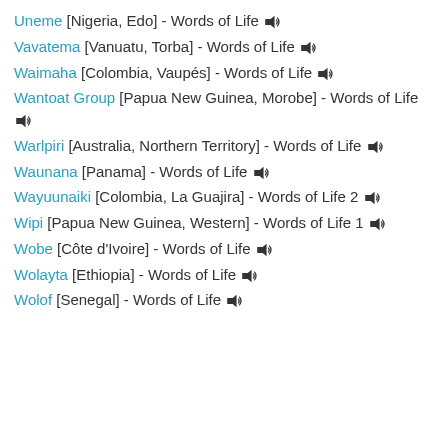Uneme [Nigeria, Edo] - Words of Life 🔊
Vavatema [Vanuatu, Torba] - Words of Life 🔊
Waimaha [Colombia, Vaupés] - Words of Life 🔊
Wantoat Group [Papua New Guinea, Morobe] - Words of Life 🔊
Warlpiri [Australia, Northern Territory] - Words of Life 🔊
Waunana [Panama] - Words of Life 🔊
Wayuunaiki [Colombia, La Guajira] - Words of Life 2 🔊
Wipi [Papua New Guinea, Western] - Words of Life 1 🔊
Wobe [Côte d'Ivoire] - Words of Life 🔊
Wolayta [Ethiopia] - Words of Life 🔊
Wolof [Senegal] - Words of Life 🔊